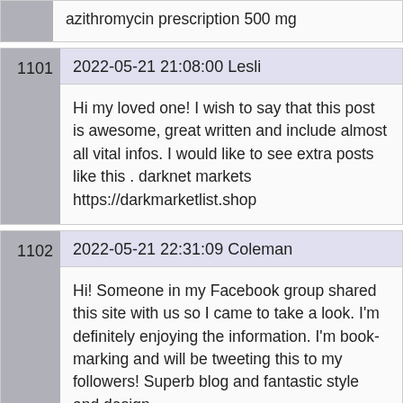azithromycin prescription 500 mg
1101  2022-05-21 21:08:00 Lesli
Hi my loved one! I wish to say that this post is awesome, great written and include almost all vital infos. I would like to see extra posts like this . darknet markets https://darkmarketlist.shop
1102  2022-05-21 22:31:09 Coleman
Hi! Someone in my Facebook group shared this site with us so I came to take a look. I'm definitely enjoying the information. I'm book-marking and will be tweeting this to my followers! Superb blog and fantastic style and design.